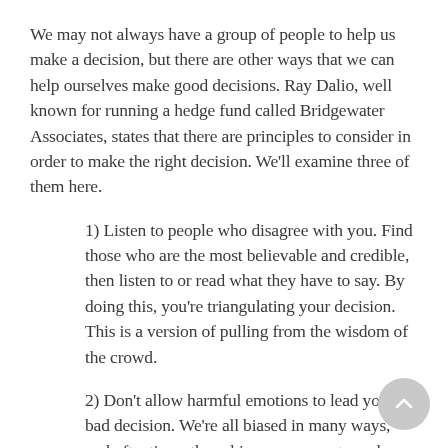We may not always have a group of people to help us make a decision, but there are other ways that we can help ourselves make good decisions. Ray Dalio, well known for running a hedge fund called Bridgewater Associates, states that there are principles to consider in order to make the right decision. We'll examine three of them here.
1) Listen to people who disagree with you. Find those who are the most believable and credible, then listen to or read what they have to say. By doing this, you're triangulating your decision. This is a version of pulling from the wisdom of the crowd.
2) Don't allow harmful emotions to lead you to a bad decision. We're all biased in many ways, and oftentimes those biases cause us to make emotionally-driven decisions. Typically, this is not a good way to make a decision. Be honest with yourself